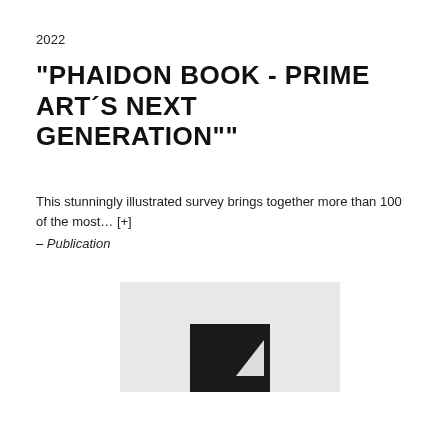2022
"PHAIDON BOOK - PRIME ART´S NEXT GENERATION""
This stunningly illustrated survey brings together more than 100 of the most… [+]
– Publication
[Figure (photo): A dark book cover shown at the bottom of a light gray rectangular background, partially cropped. The cover appears to be a dark/black book with a white triangular shape visible.]